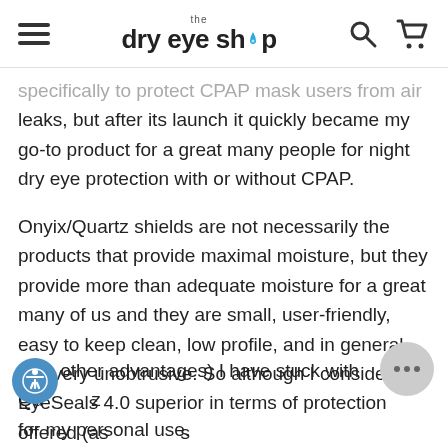the dry eye shop
specifically to protect CPAP mask users from air leaks, but after its launch it quickly became my go-to product for a great many people for night dry eye protection with or without CPAP.
Onyix/Quartz shields are not necessarily the products that provide maximal moisture, but they provide more than adequate moisture for a great many of us and they are small, user-friendly, easy to keep clean, low profile, and in general just very unobtrusive. So although I consider EyeSeals 4.0 superior in terms of protection offered (as well as other advantages) I have stuck with Quartz for my personal use.